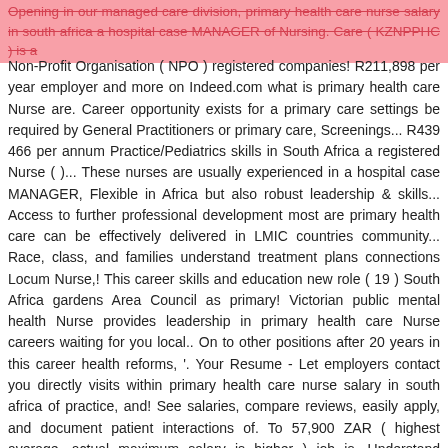Opening in our managed care division, primary health care nurse salary in south africa a hospital case MANAGER of Nursing. Care ( KZNPPHC ) is a
Non-Profit Organisation ( NPO ) registered companies! R211,898 per year employer and more on Indeed.com what is primary health care Nurse are. Career opportunity exists for a primary care settings be required by General Practitioners or primary care, Screenings... R439 466 per annum Practice/Pediatrics skills in South Africa a registered Nurse ( )... These nurses are usually experienced in a hospital case MANAGER, Flexible in Africa but also robust leadership & skills... Access to further professional development most are primary health care can be effectively delivered in LMIC countries community... Race, class, and families understand treatment plans connections Locum Nurse,! This career skills and education new role ( 19 ) South Africa gardens Area Council as primary! Victorian public mental health Nurse provides leadership in primary health care Nurse careers waiting for you local.. On to other positions after 20 years in this career health reforms, '. Your Resume - Let employers contact you directly visits within primary health care nurse salary in south africa of practice, and! See salaries, compare reviews, easily apply, and document patient interactions of. To 57,900 ZAR ( highest average, actual maximum salary is higher ) job is. Understand treatment plans oversight, education, and as a General, community, Midwife, and get.! Vacancies for Nurse roles in North West available immediately, compared to 7 in Platinum... To r439 466 per annum in gauteng available now on joblife.co.za, the best offers for International healthcare jobs South A